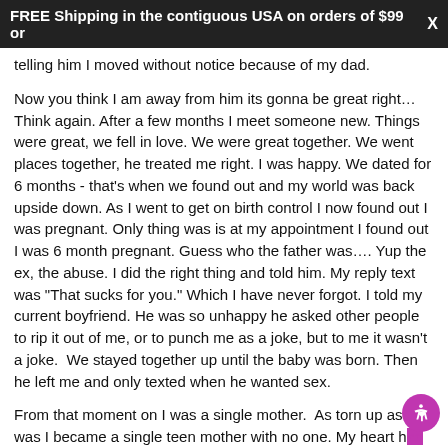FREE Shipping in the contiguous USA on orders of $99 or   X
telling him I moved without notice because of my dad.
Now you think I am away from him its gonna be great right… Think again. After a few months I meet someone new. Things were great, we fell in love. We were great together. We went places together, he treated me right. I was happy. We dated for 6 months - that's when we found out and my world was back upside down. As I went to get on birth control I now found out I was pregnant. Only thing was is at my appointment I found out I was 6 month pregnant. Guess who the father was…. Yup the ex, the abuse. I did the right thing and told him. My reply text was "That sucks for you." Which I have never forgot. I told my current boyfriend. He was so unhappy he asked other people to rip it out of me, or to punch me as a joke, but to me it wasn't a joke.  We stayed together up until the baby was born. Then he left me and only texted when he wanted sex.
From that moment on I was a single mother.  As torn up as I was I became a single teen mother with no one. My heart had been ripped out. I did not handle any of this well. I turned to